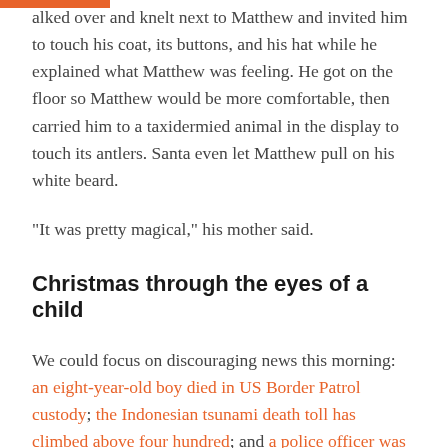alked over and knelt next to Matthew and invited him to touch his coat, its buttons, and his hat while he explained what Matthew was feeling. He got on the floor so Matthew would be more comfortable, then carried him to a taxidermied animal in the display to touch its antlers. Santa even let Matthew pull on his white beard.
“It was pretty magical,” his mother said.
Christmas through the eyes of a child
We could focus on discouraging news this morning: an eight-year-old boy died in US Border Patrol custody; the Indonesian tsunami death toll has climbed above four hundred; and a police officer was killed by a driver with “multiple prescription drugs” in his system. The officer was conducting a traffic stop at the time.